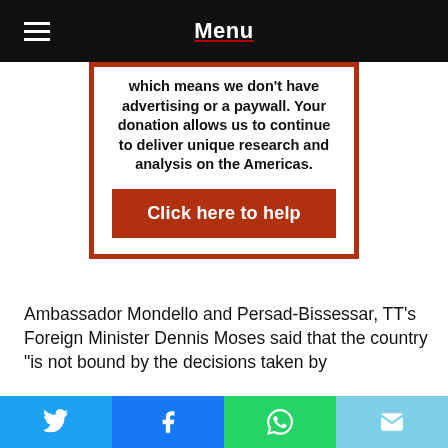Menu
which means we don't have advertising or a paywall. Your donation allows us to continue to deliver unique research and analysis on the Americas.
Click here to help
Ambassador Mondello and Persad-Bissessar, TT's Foreign Minister Dennis Moses said that the country "is not bound by the decisions taken by
Social share buttons: Twitter, Facebook, WhatsApp, Email